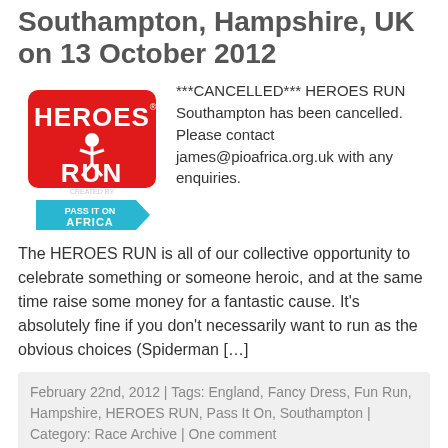Southampton, Hampshire, UK on 13 October 2012
[Figure (logo): Heroes Run logo created by Pass It On Africa — red bold text on white with a running figure, and a blue arrow tag below reading PASS IT ON AFRICA]
***CANCELLED*** HEROES RUN Southampton has been cancelled. Please contact james@pioafrica.org.uk with any enquiries.
The HEROES RUN is all of our collective opportunity to celebrate something or someone heroic, and at the same time raise some money for a fantastic cause. It's absolutely fine if you don't necessarily want to run as the obvious choices (Spiderman […]
February 22nd, 2012 | Tags: England, Fancy Dress, Fun Run, Hampshire, HEROES RUN, Pass It On, Southampton | Category: Race Archive | One comment